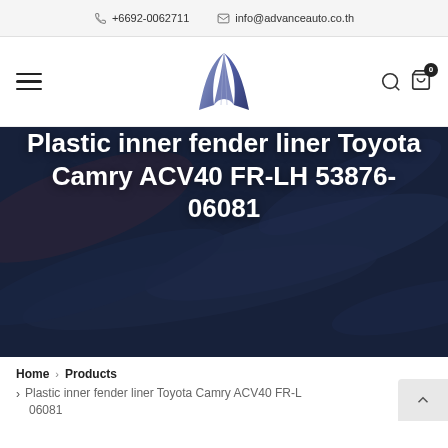+6692-0062711  info@advanceauto.co.th
[Figure (logo): Advance Auto logo - stylized blue and purple letter A with flowing curves]
Plastic inner fender liner Toyota Camry ACV40 FR-LH 53876-06081
Home > Products > Plastic inner fender liner Toyota Camry ACV40 FR-LH 53876-06081